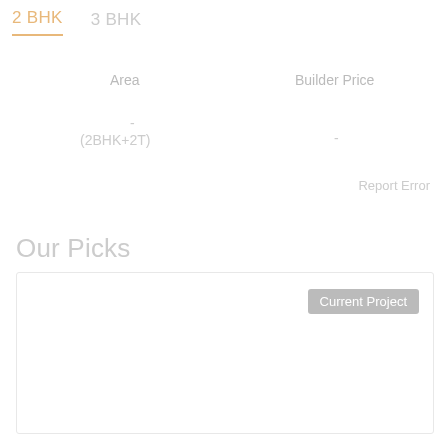2 BHK   3 BHK
Area
Builder Price
-
(2BHK+2T)
-
Report Error
Our Picks
Current Project